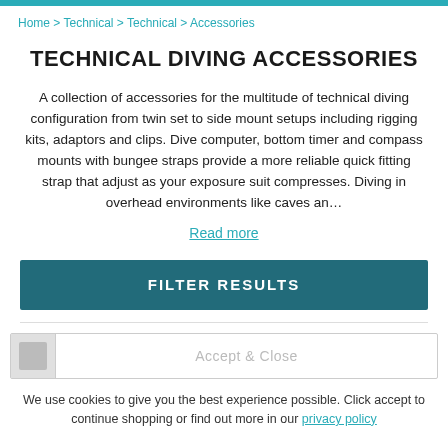Home > Technical > Technical > Accessories
TECHNICAL DIVING ACCESSORIES
A collection of accessories for the multitude of technical diving configuration from twin set to side mount setups including rigging kits, adaptors and clips. Dive computer, bottom timer and compass mounts with bungee straps provide a more reliable quick fitting strap that adjust as your exposure suit compresses. Diving in overhead environments like caves an...
Read more
FILTER RESULTS
Accept & Close
We use cookies to give you the best experience possible. Click accept to continue shopping or find out more in our privacy policy